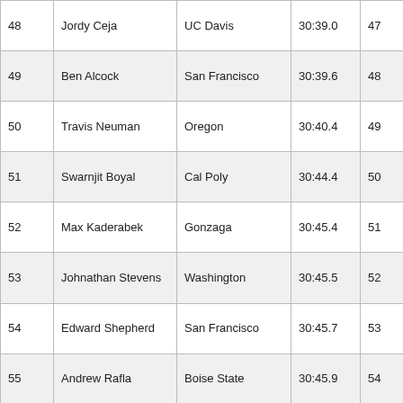| 48 | Jordy Ceja | UC Davis | 30:39.0 | 47 | 18:56.7
(03:29.6) |
| 49 | Ben Alcock | San Francisco | 30:39.6 | 48 | 19:06.0
(03:31.0) |
| 50 | Travis Neuman | Oregon | 30:40.4 | 49 | 18:52.9
(03:27.3) |
| 51 | Swarnjit Boyal | Cal Poly | 30:44.4 | 50 | 18:50.9
(03:33.5) |
| 52 | Max Kaderabek | Gonzaga | 30:45.4 | 51 | 19:06.0
(03:37.4) |
| 53 | Johnathan Stevens | Washington | 30:45.5 | 52 | 19:05.9
(03:34.6) |
| 54 | Edward Shepherd | San Francisco | 30:45.7 | 53 | 19:10.9
(03:35.0) |
| 55 | Andrew Rafla | Boise State | 30:45.9 | 54 | 19:08.5
(03:37.0) |
| 56 | Justin Robison | Cal Poly | 30:46.0 | 55 | 18:59.2
(03:33.3) |
| 57 | Orin Huff | San Jose St. | 30:46.2 | 56 | 19:09.0 |